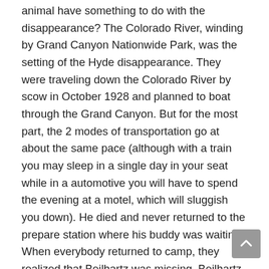animal have something to do with the disappearance? The Colorado River, winding by Grand Canyon Nationwide Park, was the setting of the Hyde disappearance. They were traveling down the Colorado River by scow in October 1928 and planned to boat through the Grand Canyon. But for the most part, the 2 modes of transportation go at about the same pace (although with a train you may sleep in a single day in your seat while in a automotive you will have to spend the evening at a motel, which will sluggish you down). He died and never returned to the prepare station where his buddy was waiting. When everybody returned to camp, they realized that Beilhartz was missing. Beilhartz had gone with his dad to bathe within the river, and from there he determined to affix two family pals at a spot about 500 toes (one hundred fifty meters) upstream of where he and his father entered the river.
Rocky Mountain National Park provided the setting for the disappearance of 5-12 months-previous Alfred